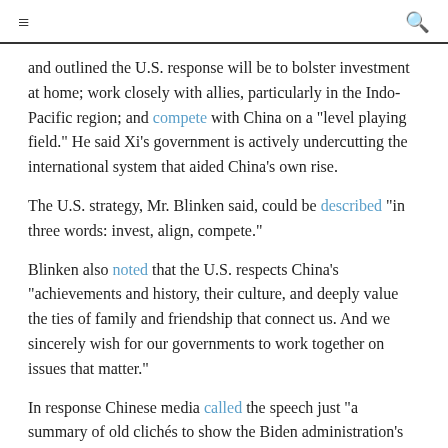≡  🔍
and outlined the U.S. response will be to bolster investment at home; work closely with allies, particularly in the Indo-Pacific region; and compete with China on a "level playing field." He said Xi's government is actively undercutting the international system that aided China's own rise.
The U.S. strategy, Mr. Blinken said, could be described "in three words: invest, align, compete."
Blinken also noted that the U.S. respects China's "achievements and history, their culture, and deeply value the ties of family and friendship that connect us. And we sincerely wish for our governments to work together on issues that matter."
In response Chinese media called the speech just "a summary of old clichés to show the Biden administration's assertiveness to outcompete China while enhancing the campaign to stigmatize Beijing despite a seemingly softer rhetoric." Chinese Foreign Ministry spokesman Wang Wenbin called the speech "eloquent and painstaking" and accused it of "spreading false information."